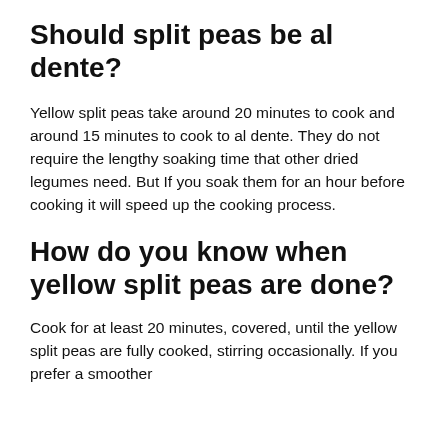Should split peas be al dente?
Yellow split peas take around 20 minutes to cook and around 15 minutes to cook to al dente. They do not require the lengthy soaking time that other dried legumes need. But If you soak them for an hour before cooking it will speed up the cooking process.
How do you know when yellow split peas are done?
Cook for at least 20 minutes, covered, until the yellow split peas are fully cooked, stirring occasionally. If you prefer a smoother